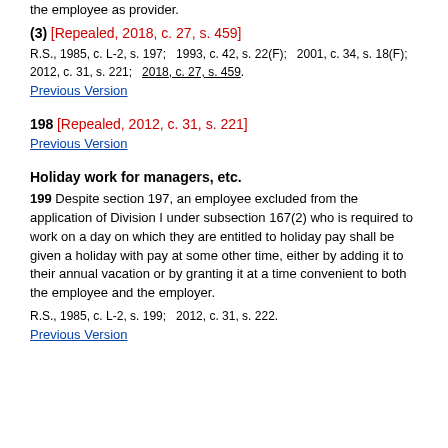the employee as provider.
(3) [Repealed, 2018, c. 27, s. 459]
R.S., 1985, c. L-2, s. 197;   1993, c. 42, s. 22(F);   2001, c. 34, s. 18(F);   2012, c. 31, s. 221;   2018, c. 27, s. 459.
Previous Version
198 [Repealed, 2012, c. 31, s. 221]
Previous Version
Holiday work for managers, etc.
199 Despite section 197, an employee excluded from the application of Division I under subsection 167(2) who is required to work on a day on which they are entitled to holiday pay shall be given a holiday with pay at some other time, either by adding it to their annual vacation or by granting it at a time convenient to both the employee and the employer.
R.S., 1985, c. L-2, s. 199;   2012, c. 31, s. 222.
Previous Version